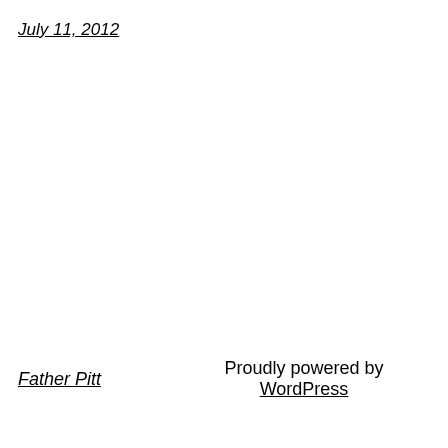July 11, 2012
Father Pitt    Proudly powered by WordPress